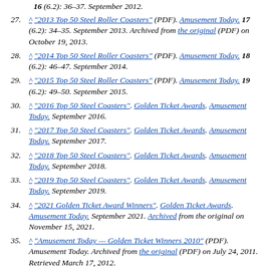16 (6.2): 36–37. September 2012.
27. ^ "2013 Top 50 Steel Roller Coasters" (PDF). Amusement Today. 17 (6.2): 34–35. September 2013. Archived from the original (PDF) on October 19, 2013.
28. ^ "2014 Top 50 Steel Roller Coasters" (PDF). Amusement Today. 18 (6.2): 46–47. September 2014.
29. ^ "2015 Top 50 Steel Roller Coasters" (PDF). Amusement Today. 19 (6.2): 49–50. September 2015.
30. ^ "2016 Top 50 Steel Coasters". Golden Ticket Awards. Amusement Today. September 2016.
31. ^ "2017 Top 50 Steel Coasters". Golden Ticket Awards. Amusement Today. September 2017.
32. ^ "2018 Top 50 Steel Coasters". Golden Ticket Awards. Amusement Today. September 2018.
33. ^ "2019 Top 50 Steel Coasters". Golden Ticket Awards. Amusement Today. September 2019.
34. ^ "2021 Golden Ticket Award Winners". Golden Ticket Awards. Amusement Today. September 2021. Archived from the original on November 15, 2021.
35. ^ "Amusement Today — Golden Ticket Winners 2010" (PDF). Amusement Today. Archived from the original (PDF) on July 24, 2011. Retrieved March 17, 2012.
External links